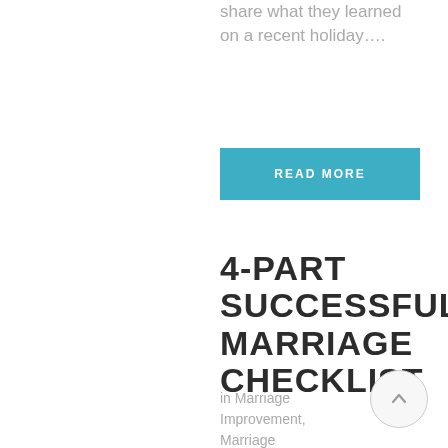share what they learned on a recent holiday….
READ MORE
4-PART SUCCESSFUL MARRIAGE CHECKLIST
in Marriage Improvement, Marriage Preparation · [social_share]